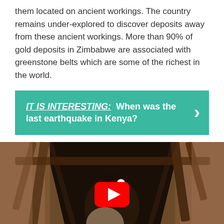them located on ancient workings. The country remains under-explored to discover deposits away from these ancient workings. More than 90% of gold deposits in Zimbabwe are associated with greenstone belts which are some of the richest in the world.
IT IS INTERESTING: When was the last earthquake in Kenya?
[Figure (photo): A miner climbing out of a mine shaft carrying a sack, with wooden beams visible, and a YouTube play button overlay indicating a video.]